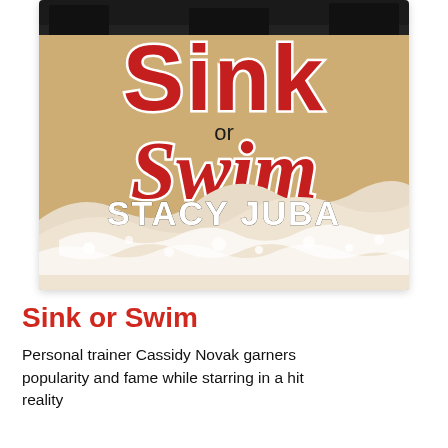[Figure (illustration): Book cover for 'Sink or Swim' by Stacy Juba. Sandy tan background with ocean wave/foam at bottom. Title 'Sink' at top in large red block letters with white outline, 'or' in smaller text, 'Swim' in large red cursive script with white outline. Author name 'STACY JUBA' in large bold white text at bottom center. Dark gym/indoor background partially visible at top.]
Sink or Swim
Personal trainer Cassidy Novak garners popularity and fame while starring in a hit reality